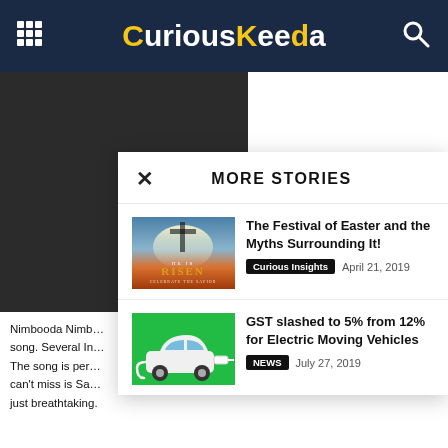CuriousKeeda
[Figure (screenshot): Dark background content area behind popup panel]
MORE STORIES
[Figure (photo): Easter 'He Is Risen' image with sky and sunrise background]
The Festival of Easter and the Myths Surrounding It!
Curious Insights  April 21, 2019
[Figure (illustration): Electric vehicle (white car) on green background with charging plug]
GST slashed to 5% from 12% for Electric Moving Vehicles
NEWS  July 27, 2019
Nimbooda Nimb... song. Several In... The song is per... can't miss is Sa... just breathtaking.